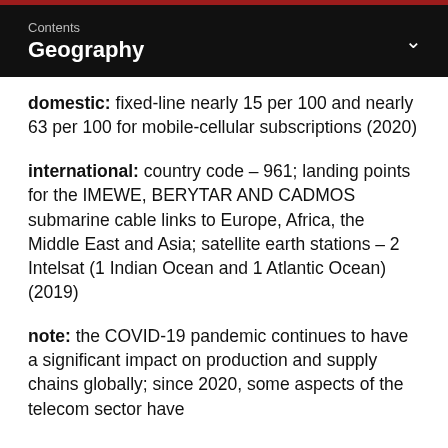Contents
Geography
domestic: fixed-line nearly 15 per 100 and nearly 63 per 100 for mobile-cellular subscriptions (2020)
international: country code – 961; landing points for the IMEWE, BERYTAR AND CADMOS submarine cable links to Europe, Africa, the Middle East and Asia; satellite earth stations – 2 Intelsat (1 Indian Ocean and 1 Atlantic Ocean) (2019)
note: the COVID-19 pandemic continues to have a significant impact on production and supply chains globally; since 2020, some aspects of the telecom sector have